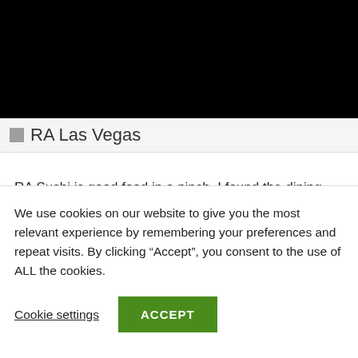[Figure (screenshot): Black bar at top of page representing obscured/cropped website content]
RA Las Vegas
RA Sushi is good food in a pinch. I found the dining experience to be a bit disappointing, perhaps it was an off day or I was tired. I spent the majority of the day enjoying my walk around the Las Vegas strip and wanted a friendly sit down environment
We use cookies on our website to give you the most relevant experience by remembering your preferences and repeat visits. By clicking “Accept”, you consent to the use of ALL the cookies.
Cookie settings
ACCEPT